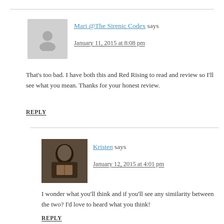Mari @The Sirenic Codex says
January 11, 2015 at 8:08 pm
That's too bad. I have both this and Red Rising to read and review so I'll see what you mean. Thanks for your honest review.
REPLY
Kristen says
January 12, 2015 at 4:01 pm
I wonder what you'll think and if you'll see any similarity between the two? I'd love to heard what you think!
REPLY